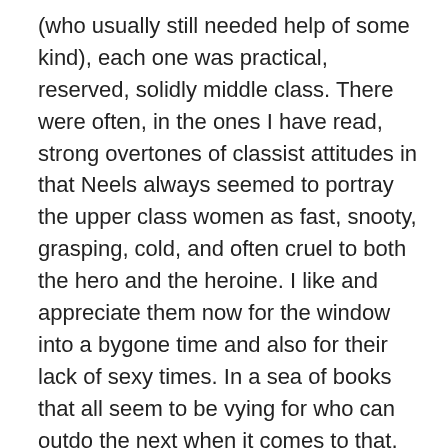(who usually still needed help of some kind), each one was practical, reserved, solidly middle class. There were often, in the ones I have read, strong overtones of classist attitudes in that Neels always seemed to portray the upper class women as fast, snooty, grasping, cold, and often cruel to both the hero and the heroine. I like and appreciate them now for the window into a bygone time and also for their lack of sexy times. In a sea of books that all seem to be vying for who can outdo the next when it comes to that, even among books that are not erotica, Neels' books feel different and to an extent fresh. I can't help but wonder if that is part of the appeal today for others as well.
If I had to pick one that really stands out for me it would be Sun and Candlelight.